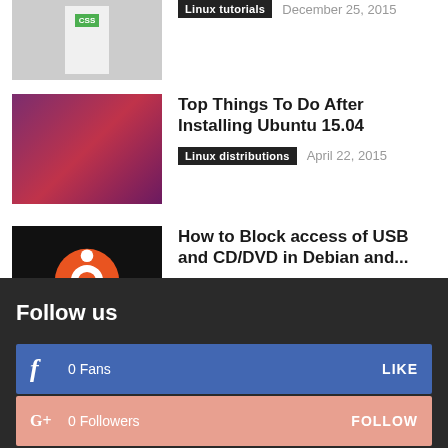[Figure (photo): Thumbnail image of a CSS/tutorial related icon on grey background (partially visible at top)]
Linux tutorials   December 25, 2015
[Figure (photo): Thumbnail image with purple/magenta gradient - Ubuntu 15.04 related]
Top Things To Do After Installing Ubuntu 15.04
Linux distributions   April 22, 2015
[Figure (photo): Thumbnail with black background and orange Ubuntu logo - USB/CD/DVD blocking article]
How to Block access of USB and CD/DVD in Debian and...
Frequently Asked Questions   March 30, 2016
Follow us
f   0  Fans   LIKE
G+  0  Followers   FOLLOW